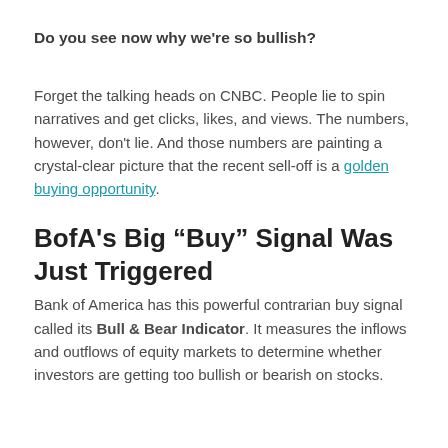Do you see now why we're so bullish?
Forget the talking heads on CNBC. People lie to spin narratives and get clicks, likes, and views. The numbers, however, don't lie. And those numbers are painting a crystal-clear picture that the recent sell-off is a golden buying opportunity.
BofA's Big “Buy” Signal Was Just Triggered
Bank of America has this powerful contrarian buy signal called its Bull & Bear Indicator. It measures the inflows and outflows of equity markets to determine whether investors are getting too bullish or bearish on stocks.